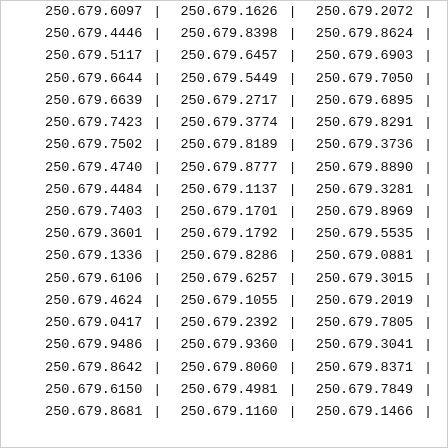| col1 | sep1 | col2 | sep2 | col3 | sep3 |
| --- | --- | --- | --- | --- | --- |
| 250.679.6097 | | | 250.679.1626 | | | 250.679.2072 | | |
| 250.679.4446 | | | 250.679.8398 | | | 250.679.8624 | | |
| 250.679.5117 | | | 250.679.6457 | | | 250.679.6903 | | |
| 250.679.6644 | | | 250.679.5449 | | | 250.679.7050 | | |
| 250.679.6639 | | | 250.679.2717 | | | 250.679.6895 | | |
| 250.679.7423 | | | 250.679.3774 | | | 250.679.8291 | | |
| 250.679.7502 | | | 250.679.8189 | | | 250.679.3736 | | |
| 250.679.4740 | | | 250.679.8777 | | | 250.679.8890 | | |
| 250.679.4484 | | | 250.679.1137 | | | 250.679.3281 | | |
| 250.679.7403 | | | 250.679.1701 | | | 250.679.8969 | | |
| 250.679.3601 | | | 250.679.1792 | | | 250.679.5535 | | |
| 250.679.1336 | | | 250.679.8286 | | | 250.679.0881 | | |
| 250.679.6106 | | | 250.679.6257 | | | 250.679.3015 | | |
| 250.679.4624 | | | 250.679.1055 | | | 250.679.2019 | | |
| 250.679.0417 | | | 250.679.2392 | | | 250.679.7805 | | |
| 250.679.9486 | | | 250.679.9360 | | | 250.679.3041 | | |
| 250.679.8642 | | | 250.679.8060 | | | 250.679.8371 | | |
| 250.679.6150 | | | 250.679.4981 | | | 250.679.7849 | | |
| 250.679.8681 | | | 250.679.1160 | | | 250.679.1466 | | |